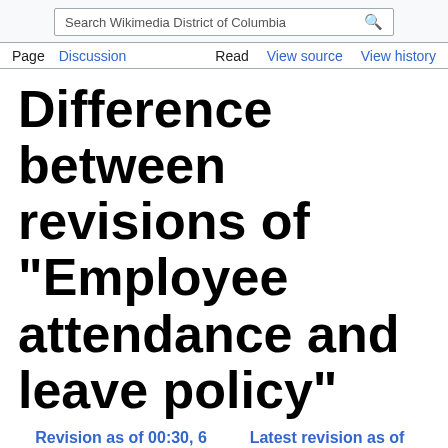Search Wikimedia District of Columbia
Page  Discussion  Read  View source  View history
Difference between revisions of "Employee attendance and leave policy"
Revision as of 00:30, 6 May 2012 (view source)
Kirill Lokshin (talk |
Latest revision as of 18:43, 10 April 2016 (view source)